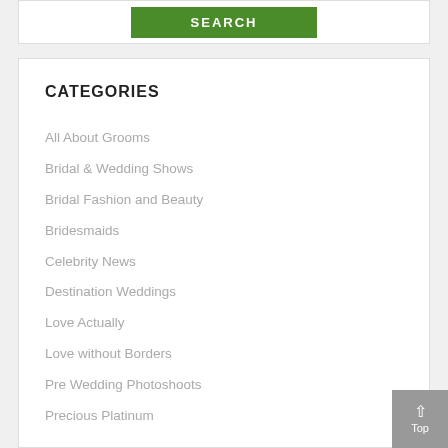[Figure (screenshot): Green SEARCH button on white background with border]
CATEGORIES
All About Grooms
Bridal & Wedding Shows
Bridal Fashion and Beauty
Bridesmaids
Celebrity News
Destination Weddings
Love Actually
Love without Borders
Pre Wedding Photoshoots
Precious Platinum